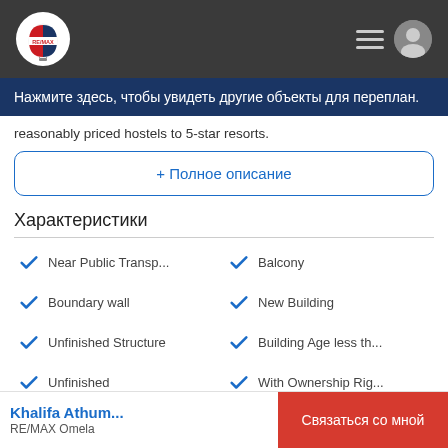RE/MAX header navigation bar
Нажмите здесь, чтобы увидеть другие объекты для переплан.
reasonably priced hostels to 5-star resorts.
+ Полное описание
Характеристики
Near Public Transp...
Balcony
Boundary wall
New Building
Unfinished Structure
Building Age less th...
Unfinished
With Ownership Rig...
Khalifa Athum... RE/MAX Omela — Связаться со мной